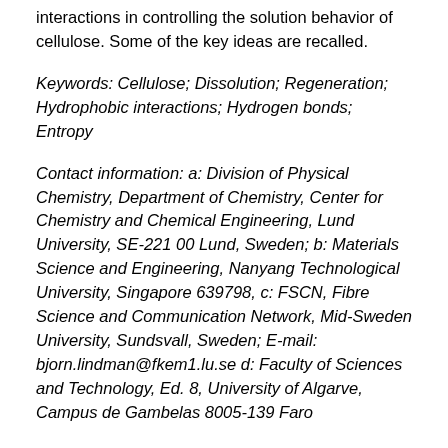interactions in controlling the solution behavior of cellulose. Some of the key ideas are recalled.
Keywords: Cellulose; Dissolution; Regeneration; Hydrophobic interactions; Hydrogen bonds; Entropy
Contact information: a: Division of Physical Chemistry, Department of Chemistry, Center for Chemistry and Chemical Engineering, Lund University, SE-221 00 Lund, Sweden; b: Materials Science and Engineering, Nanyang Technological University, Singapore 639798, c: FSCN, Fibre Science and Communication Network, Mid-Sweden University, Sundsvall, Sweden; E-mail: bjorn.lindman@fkem1.lu.se d: Faculty of Sciences and Technology, Ed. 8, University of Algarve, Campus de Gambelas 8005-139 Faro